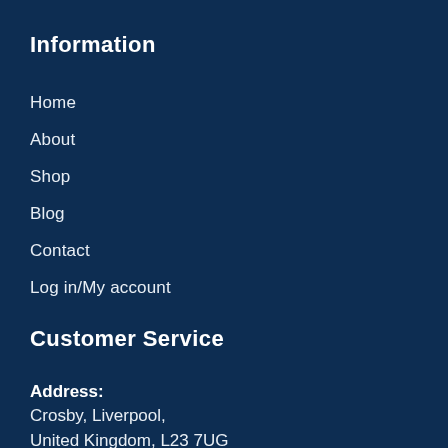Information
Home
About
Shop
Blog
Contact
Log in/My account
Customer Service
Address:
Crosby, Liverpool,
United Kingdom, L23 7UG
Telephone:
0151 281 0060
Email: